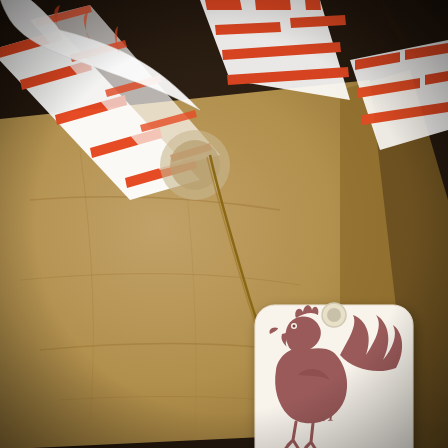[Figure (photo): A brown kraft paper wrapped gift package tied with orange and white chevron/striped ribbon forming a bow. A hanging gift tag made of cream/white card stock is attached with natural twine. The tag features a rooster/chicken silhouette in dusty rose/mauve color with the text 'Chicken Scratch NY' written in a cursive script within the silhouette. The background shows a dark wooden surface.]